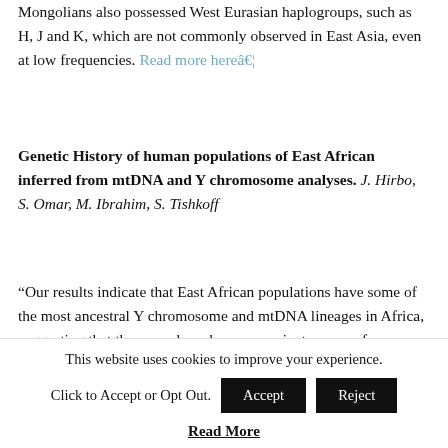Mongolians also possessed West Eurasian haplogroups, such as H, J and K, which are not commonly observed in East Asia, even at low frequencies. Read more here…
Genetic History of human populations of East African inferred from mtDNA and Y chromosome analyses. J. Hirbo, S. Omar, M. Ibrahim, S. Tishkoff
“Our results indicate that East African populations have some of the most ancestral Y chromosome and mtDNA lineages in Africa, suggesting that they may have been an ancient source of dispersion throughout Africa.
Additionally, we find evidence for ancient geneflow…
This website uses cookies to improve your experience. Click to Accept or Opt Out. [Accept] [Reject] Read More